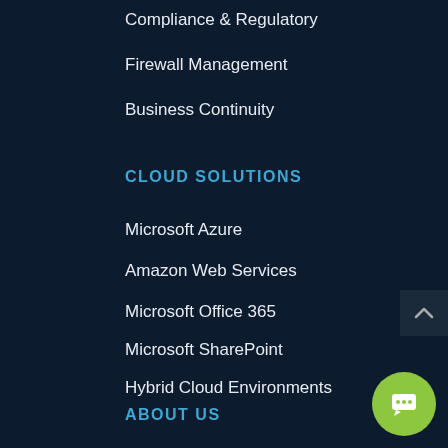Compliance & Regulatory
Firewall Management
Business Continuity
CLOUD SOLUTIONS
Microsoft Azure
Amazon Web Services
Microsoft Office 365
Microsoft SharePoint
Hybrid Cloud Environments
ABOUT US
About Us